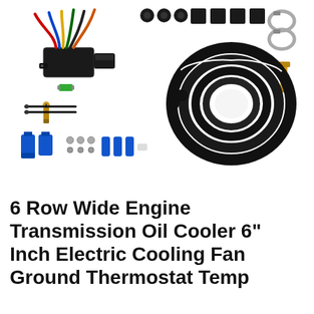[Figure (photo): Product photo showing an automotive cooling fan wiring and installation kit spread out on a white background. Components include: a wiring harness with multi-colored wires (red, blue, yellow, black) connected to a black relay box, green fuse, temperature sensor probes (brass/gold colored), black zip ties, blue aluminum fittings and connectors, small hardware (nuts, washers), black rubber grommets and mounting pads, hose clamps (chrome), a coiled black flexible hose, and a gold/brass temperature sender unit.]
6 Row Wide Engine Transmission Oil Cooler 6" Inch Electric Cooling Fan Ground Thermostat Temp